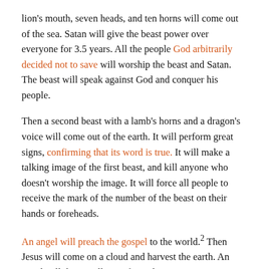lion's mouth, seven heads, and ten horns will come out of the sea. Satan will give the beast power over everyone for 3.5 years. All the people God arbitrarily decided not to save will worship the beast and Satan. The beast will speak against God and conquer his people.
Then a second beast with a lamb's horns and a dragon's voice will come out of the earth. It will perform great signs, confirming that its word is true. It will make a talking image of the first beast, and kill anyone who doesn't worship the image. It will force all people to receive the mark of the number of the beast on their hands or foreheads.
An angel will preach the gospel to the world.2 Then Jesus will come on a cloud and harvest the earth. An angel will throw trillions of people into a winepress so Jesus can trample them to death, and a five-foot flood of blood will flow out of it. Seven more angels will bring seven plagues